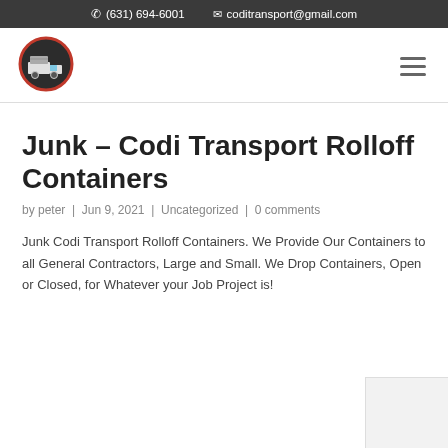(631) 694-6001  coditransport@gmail.com
[Figure (logo): Codi Transport circular logo with truck icon, red border, dark background]
Junk – Codi Transport Rolloff Containers
by peter | Jun 9, 2021 | Uncategorized | 0 comments
Junk Codi Transport Rolloff Containers. We Provide Our Containers to all General Contractors, Large and Small. We Drop Containers, Open or Closed, for Whatever your Job Project is!